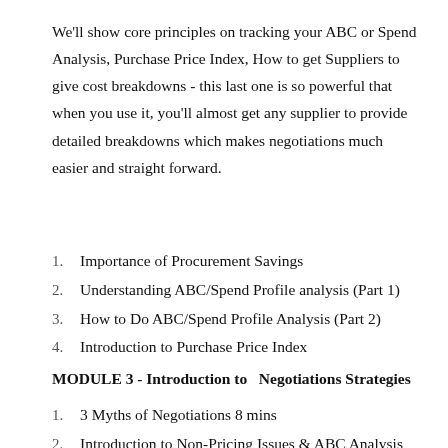We'll show core principles on tracking your ABC or Spend Analysis, Purchase Price Index, How to get Suppliers to give cost breakdowns - this last one is so powerful that when you use it, you'll almost get any supplier to provide detailed breakdowns which makes negotiations much easier and straight forward.
Importance of Procurement Savings
Understanding ABC/Spend Profile analysis (Part 1)
How to Do ABC/Spend Profile Analysis (Part 2)
Introduction to Purchase Price Index
MODULE 3 - Introduction to  Negotiations Strategies
3 Myths of Negotiations 8 mins
Introduction to Non-Pricing Issues & ABC Analysis